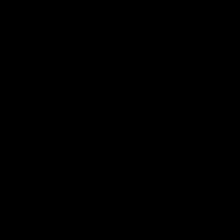[Figure (photo): Very dark, nearly black image with a faint small object visible near the center-right area. The object appears to show dim colors including orange/amber, blue, and teal tones, suggesting a small illuminated or colored subject against a completely dark background.]